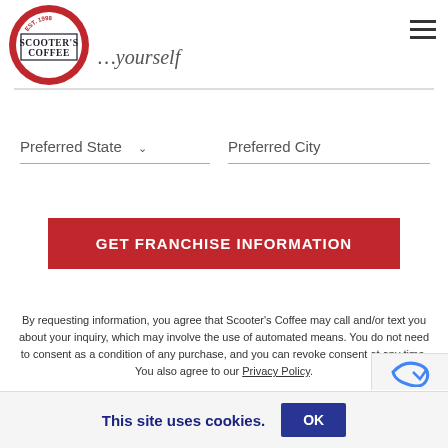[Figure (logo): Scooter's Coffee logo — red circle with EST. 1998 text and SCOOTER'S COFFEE in black serif font]
… yourself
Preferred State
Preferred City
GET FRANCHISE INFORMATION
By requesting information, you agree that Scooter's Coffee may call and/or text you about your inquiry, which may involve the use of automated means. You do not need to consent as a condition of any purchase, and you can revoke consent at any time. You also agree to our Privacy Policy.
This site uses cookies.